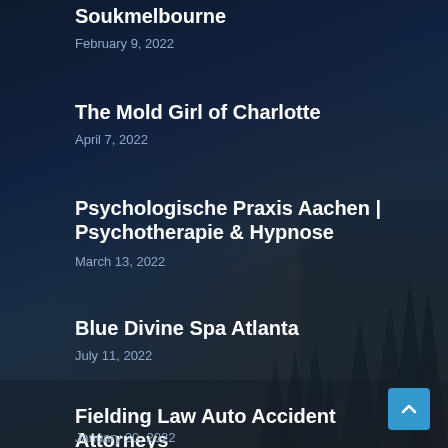Soukmelbourne
February 9, 2022
The Mold Girl of Charlotte
April 7, 2022
Psychologische Praxis Aachen | Psychotherapie & Hypnose
March 13, 2022
Blue Divine Spa Atlanta
July 11, 2022
Fielding Law Auto Accident Attorneys
January 20, 2022